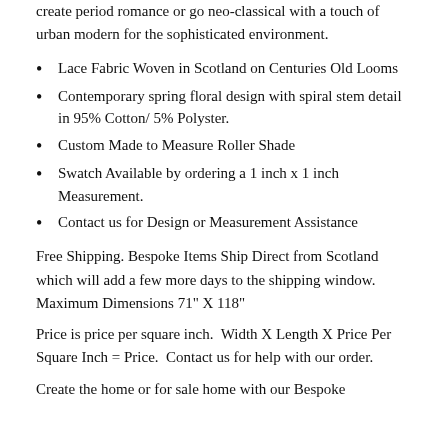create period romance or go neo-classical with a touch of urban modern for the sophisticated environment.
Lace Fabric Woven in Scotland on Centuries Old Looms
Contemporary spring floral design with spiral stem detail in 95% Cotton/ 5% Polyster.
Custom Made to Measure Roller Shade
Swatch Available by ordering a 1 inch x 1 inch Measurement.
Contact us for Design or Measurement Assistance
Free Shipping. Bespoke Items Ship Direct from Scotland which will add a few more days to the shipping window. Maximum Dimensions 71" X 118"
Price is price per square inch.  Width X Length X Price Per Square Inch = Price.  Contact us for help with our order.
Create the home or for sale home with our Bespoke